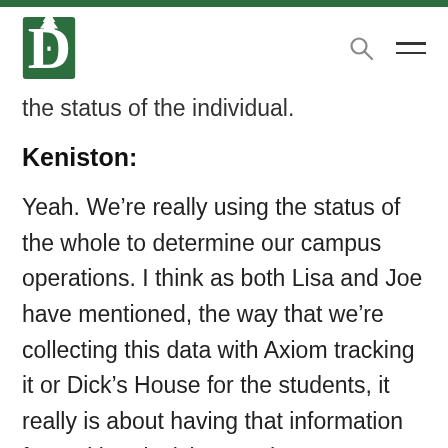Dartmouth College navigation header with logo, search, and menu icons
the status of the individual.
Keniston:
Yeah. We’re really using the status of the whole to determine our campus operations. I think as both Lisa and Joe have mentioned, the way that we’re collecting this data with Axiom tracking it or Dick’s House for the students, it really is about having that information for making decisions at the aggregate level